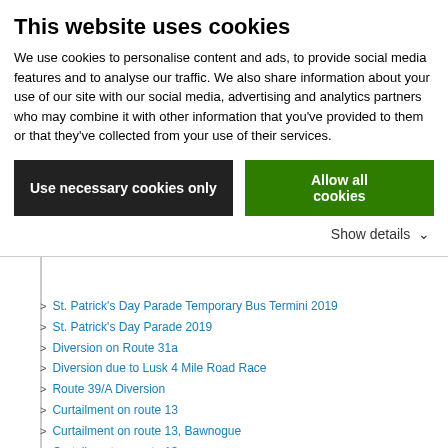This website uses cookies
We use cookies to personalise content and ads, to provide social media features and to analyse our traffic. We also share information about your use of our site with our social media, advertising and analytics partners who may combine it with other information that you've provided to them or that they've collected from your use of their services.
Use necessary cookies only | Allow all cookies
Show details
25/a/b, 26, 66/a/b and 67 due to the closure of Merrion Square South
St. Patrick's Day Parade Temporary Bus Termini 2019
St. Patrick's Day Parade 2019
Diversion on Route 31a
Diversion due to Lusk 4 Mile Road Race
Route 39/A Diversion
Curtailment on route 13
Curtailment on route 13, Bawnogue
Curtailment on route 13
Curtailment on route 13